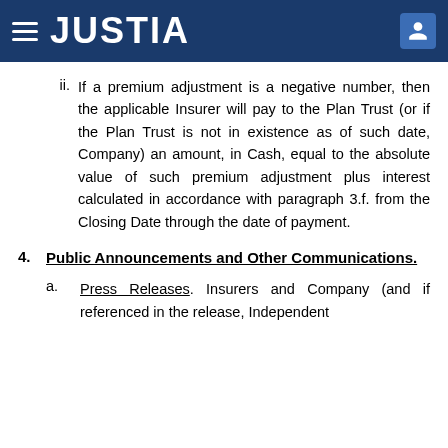JUSTIA
ii. If a premium adjustment is a negative number, then the applicable Insurer will pay to the Plan Trust (or if the Plan Trust is not in existence as of such date, Company) an amount, in Cash, equal to the absolute value of such premium adjustment plus interest calculated in accordance with paragraph 3.f. from the Closing Date through the date of payment.
4. Public Announcements and Other Communications.
a. Press Releases. Insurers and Company (and if referenced in the release, Independent